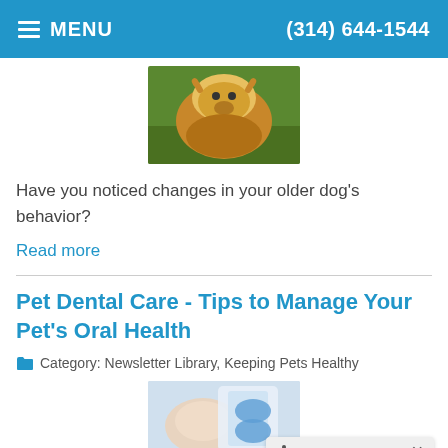≡ MENU   (314) 644-1544
[Figure (photo): A golden retriever dog lying on grass, looking up]
Have you noticed changes in your older dog's behavior?
Read more
Pet Dental Care - Tips to Manage Your Pet's Oral Health
Category: Newsletter Library, Keeping Pets Healthy
[Figure (photo): Veterinarian in blue gloves examining a cat's teeth]